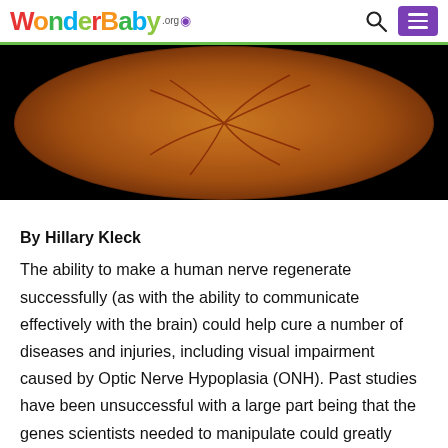WonderBaby.org
[Figure (photo): Close-up retinal fundus photograph showing blood vessels on an orange-brown background, representing an eye/optic nerve image.]
By Hillary Kleck
The ability to make a human nerve regenerate successfully (as with the ability to communicate effectively with the brain) could help cure a number of diseases and injuries, including visual impairment caused by Optic Nerve Hypoplasia (ONH). Past studies have been unsuccessful with a large part being that the genes scientists needed to manipulate could greatly increase the subject's risk of cancer.